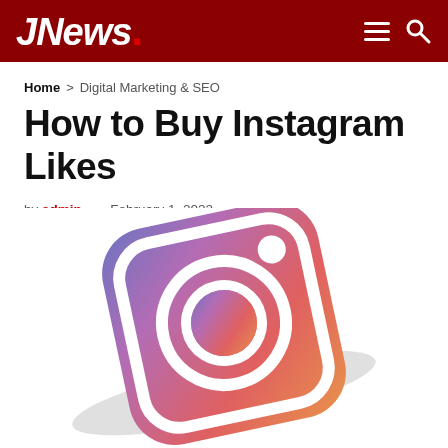JNews.
Home > Digital Marketing & SEO
How to Buy Instagram Likes
by admin — February 1, 2022
[Figure (illustration): 3D tilted Instagram logo icon with gradient from purple-blue to pink-orange, white camera outline and circle details, on white background with shadow]